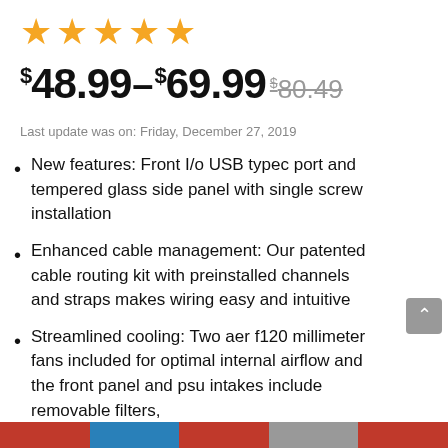[Figure (other): Five gold star rating icons]
$48.99–$69.99 $80.49
Last update was on: Friday, December 27, 2019
New features: Front I/o USB typec port and tempered glass side panel with single screw installation
Enhanced cable management: Our patented cable routing kit with preinstalled channels and straps makes wiring easy and intuitive
Streamlined cooling: Two aer f120 millimeter fans included for optimal internal airflow and the front panel and psu intakes include removable filters,